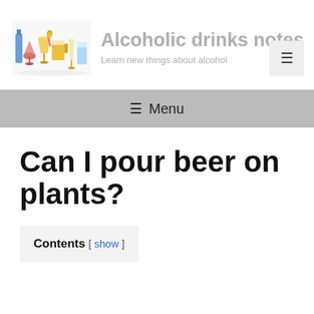Alcoholic drinks notes — Learn new things about alcohol
[Figure (photo): Logo image showing various alcoholic drinks glasses including cocktails, beer, and wine glasses on a white background.]
≡ Menu
Can I pour beer on plants?
Contents [ show ]